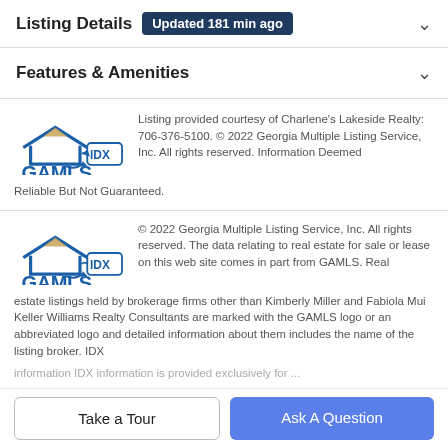Listing Details  Updated 181 min ago
Features & Amenities
[Figure (logo): GAMLS IDX logo - blue house outline with gold roof accents]
Listing provided courtesy of Charlene's Lakeside Realty: 706-376-5100. © 2022 Georgia Multiple Listing Service, Inc. All rights reserved. Information Deemed Reliable But Not Guaranteed.
[Figure (logo): GAMLS IDX logo - blue house outline with gold roof accents]
© 2022 Georgia Multiple Listing Service, Inc. All rights reserved. The data relating to real estate for sale or lease on this web site comes in part from GAMLS. Real estate listings held by brokerage firms other than Kimberly Miller and Fabiola Mui Keller Williams Realty Consultants are marked with the GAMLS logo or an abbreviated logo and detailed information about them includes the name of the listing broker. IDX
Take a Tour
Ask A Question